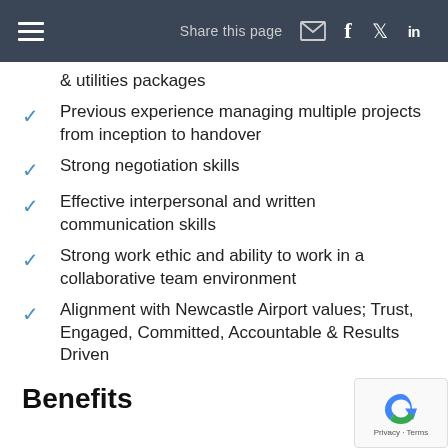Share this page
& utilities packages
Previous experience managing multiple projects from inception to handover
Strong negotiation skills
Effective interpersonal and written communication skills
Strong work ethic and ability to work in a collaborative team environment
Alignment with Newcastle Airport values; Trust, Engaged, Committed, Accountable & Results Driven
Benefits